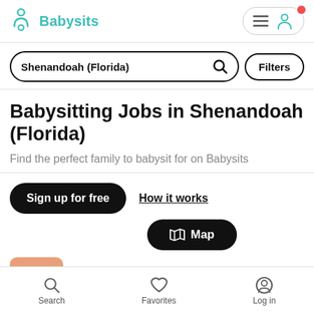Babysits
Shenandoah (Florida)
Babysitting Jobs in Shenandoah (Florida)
Find the perfect family to babysit for on Babysits
Sign up for free
How it works
Map
Valentina
Search  Favorites  Log in